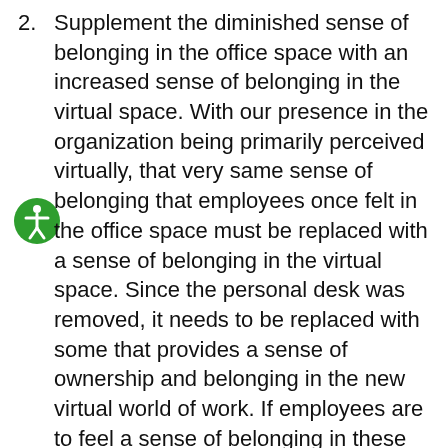2. Supplement the diminished sense of belonging in the office space with an increased sense of belonging in the virtual space. With our presence in the organization being primarily perceived virtually, that very same sense of belonging that employees once felt in the office space must be replaced with a sense of belonging in the virtual space. Since the personal desk was removed, it needs to be replaced with some that provides a sense of ownership and belonging in the new virtual world of work. If employees are to feel a sense of belonging in these professional virtual environments, they need the professional tools and technologies built exactly with those environments in mind. Research